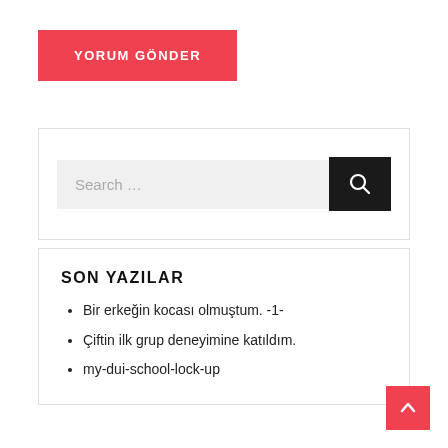YORUM GÖNDER
[Figure (screenshot): Search input box with text 'Search ...' and a dark search button with magnifier icon]
SON YAZILAR
Bir erkeğin kocası olmuştum. -1-
Çiftin ilk grup deneyimine katıldım.
my-dui-school-lock-up